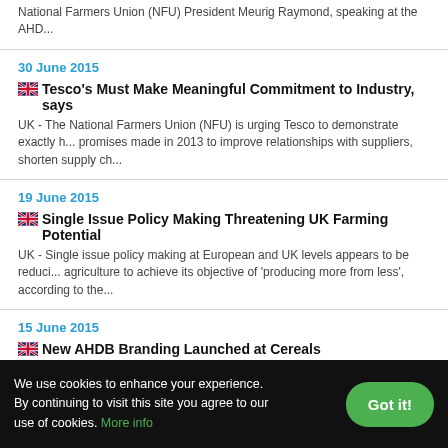National Farmers Union (NFU) President Meurig Raymond, speaking at the AHD...
30 June 2015
Tesco's Must Make Meaningful Commitment to Industry, says...
UK - The National Farmers Union (NFU) is urging Tesco to demonstrate exactly how it plans to honour promises made in 2013 to improve relationships with suppliers, shorten supply ch...
19 June 2015
Single Issue Policy Making Threatening UK Farming Potential...
UK - Single issue policy making at European and UK levels appears to be reducing the ability of agriculture to achieve its objective of 'producing more from less', according to the...
15 June 2015
New AHDB Branding Launched at Cereals
UK - New branding and a proposed new way of working for the Agriculture and H... Board (AHDB) was formally launched at today's Cereals event in Lincolnshire....
26 May 2015
We use cookies to enhance your experience. By continuing to visit this site you agree to our use of cookies. More info